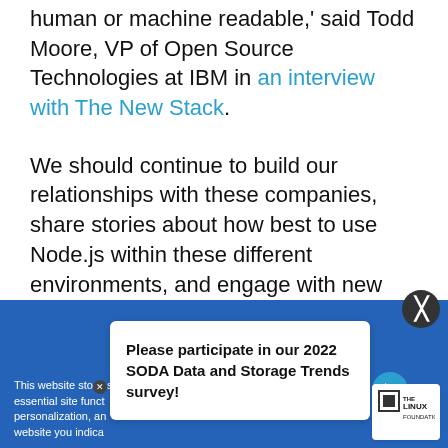human or machine readable,' said Todd Moore, VP of Open Source Technologies at IBM in an interview with The New Stack.
We should continue to build our relationships with these companies, share stories about how best to use Node.js within these different environments, and engage with new developers who are sprouting up around cloud-native applications and arm them with best practices around Node.js
This website stores... essential site funct... personalization, an... website you indica...
Please participate in our 2022 SODA Data and Storage Trends survey!